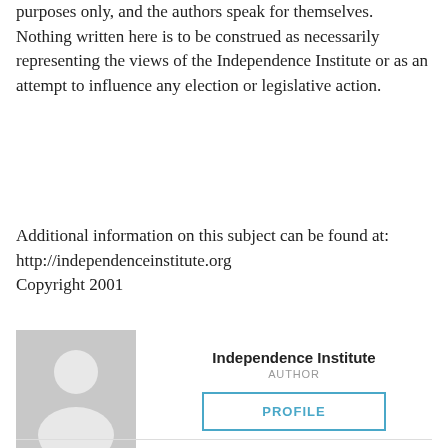purposes only, and the authors speak for themselves. Nothing written here is to be construed as necessarily representing the views of the Independence Institute or as an attempt to influence any election or legislative action.
Additional information on this subject can be found at: http://independenceinstitute.org
Copyright 2001
[Figure (other): Gray placeholder avatar showing silhouette of a person (head and shoulders) on a gray background]
Independence Institute
AUTHOR
PROFILE